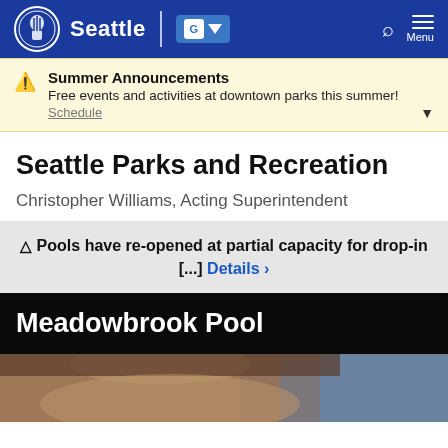Seattle | [Google Translate] | Search | Menu
Summer Announcements
Free events and activities at downtown parks this summer!
Schedule
Seattle Parks and Recreation
Christopher Williams, Acting Superintendent
⚠ Pools have re-opened at partial capacity for drop-in [...] Details >
Meadowbrook Pool
[Figure (photo): Partial photo of a person's face, cropped at the bottom of the page]